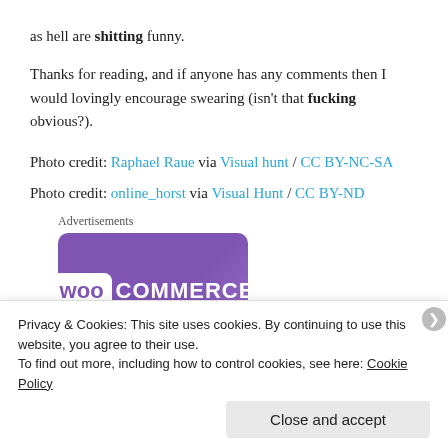as hell are shitting funny.
Thanks for reading, and if anyone has any comments then I would lovingly encourage swearing (isn't that fucking obvious?).
Photo credit: Raphael Raue via Visual hunt / CC BY-NC-SA
Photo credit: online_horst via Visual Hunt / CC BY-ND
[Figure (logo): WooCommerce advertisement banner with purple background and white WooCommerce logo]
Privacy & Cookies: This site uses cookies. By continuing to use this website, you agree to their use. To find out more, including how to control cookies, see here: Cookie Policy